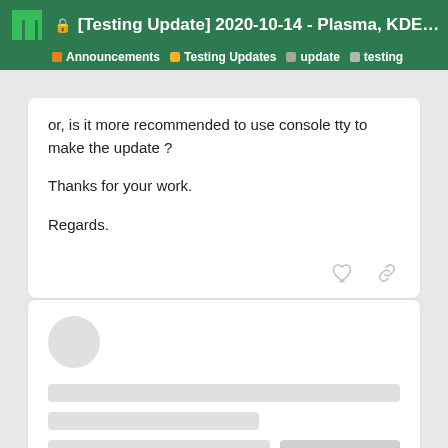[Testing Update] 2020-10-14 - Plasma, KDE Ap... | Announcements | Testing Updates | update | testing
or, is it more recommended to use console tty to make the update ?

Thanks for your work.

Regards.
[Figure (screenshot): Second forum post card with blurred/loading content, showing avatar circle, placeholder bars, and pagination showing 20 / 67]